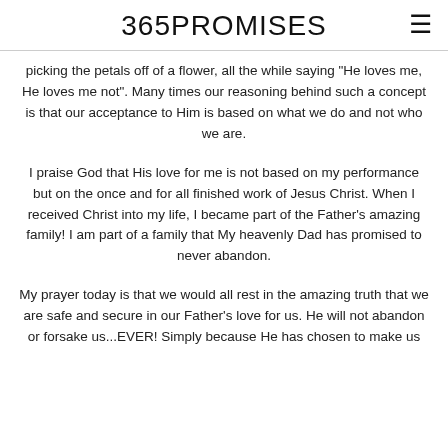365PROMISES
picking the petals off of a flower, all the while saying "He loves me, He loves me not". Many times our reasoning behind such a concept is that our acceptance to Him is based on what we do and not who we are.
I praise God that His love for me is not based on my performance but on the once and for all finished work of Jesus Christ. When I received Christ into my life, I became part of the Father's amazing family! I am part of a family that My heavenly Dad has promised to never abandon.
My prayer today is that we would all rest in the amazing truth that we are safe and secure in our Father's love for us. He will not abandon or forsake us...EVER!  Simply because He has chosen to make us